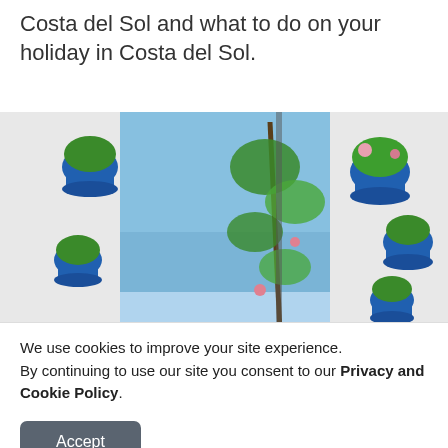Costa del Sol and what to do on your holiday in Costa del Sol.
[Figure (photo): A whitewashed alley with blue flower pots hanging on walls, green climbing plants, and a view of the sea and coastal town in the background, typical of Andalusia / Costa del Sol, Spain.]
We use cookies to improve your site experience.
By continuing to use our site you consent to our Privacy and Cookie Policy.
Accept
12 March 2020